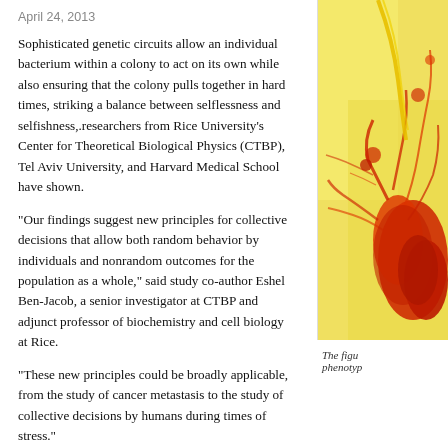April 24, 2013
Sophisticated genetic circuits allow an individual bacterium within a colony to act on its own while also ensuring that the colony pulls together in hard times, striking a balance between selflessness and selfishness,.researchers from Rice University's Center for Theoretical Biological Physics (CTBP), Tel Aviv University, and Harvard Medical School have shown.
"Our findings suggest new principles for collective decisions that allow both random behavior by individuals and nonrandom outcomes for the population as a whole," said study co-author Eshel Ben-Jacob, a senior investigator at CTBP and adjunct professor of biochemistry and cell biology at Rice.
"These new principles could be broadly applicable, from the study of cancer metastasis to the study of collective decisions by humans during times of stress."
Cooperation for colony survival
Some species of bacteria live in complex colonies that can contain millions of individual cells. An increasing body of research on bacterial colonies has found that members often
[Figure (photo): Microscope image of bacterial colony showing red branching structures on a yellow background]
The figu phenotyp